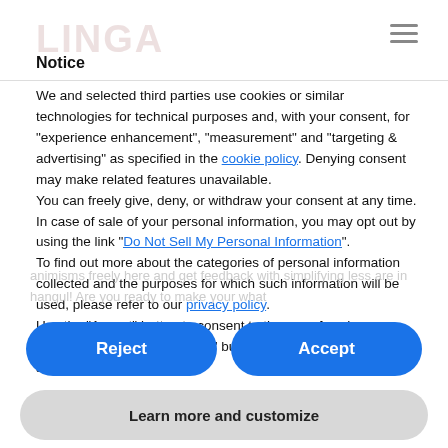LINGA
Notice
We and selected third parties use cookies or similar technologies for technical purposes and, with your consent, for “experience enhancement”, “measurement” and “targeting & advertising” as specified in the cookie policy. Denying consent may make related features unavailable.
You can freely give, deny, or withdraw your consent at any time.
In case of sale of your personal information, you may opt out by using the link “Do Not Sell My Personal Information”.
To find out more about the categories of personal information collected and the purposes for which such information will be used, please refer to our privacy policy.
Use the “Accept” button to consent to the use of such technologies. Use the “Reject” button to continue without accepting.
Reject
Accept
Learn more and customize